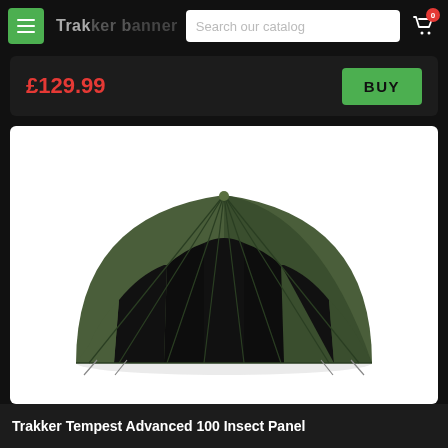Trakker banner | Search our catalog | Cart 0
£129.99
BUY
[Figure (photo): Trakker Tempest Advanced 100 Insect Panel dome-style olive green fishing bivvy tent on white background]
Trakker Tempest Advanced 100 Insect Panel